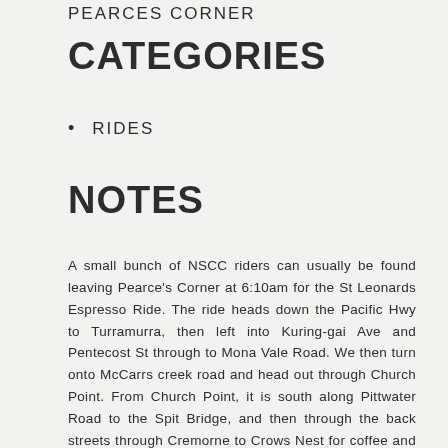PEARCES CORNER
CATEGORIES
RIDES
NOTES
A small bunch of NSCC riders can usually be found leaving Pearce's Corner at 6:10am for the St Leonards Espresso Ride. The ride heads down the Pacific Hwy to Turramurra, then left into Kuring-gai Ave and Pentecost St through to Mona Vale Road. We then turn onto McCarrs creek road and head out through Church Point. From Church Point, it is south along Pittwater Road to the Spit Bridge, and then through the back streets through Cremorne to Crows Nest for coffee and breakfast. After breakfast, there are usually riders heading to the city, North Ryde and some back to Hornsby